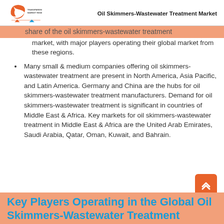Oil Skimmers-Wastewater Treatment Market
share of the oil skimmers-wastewater treatment market, with major players operating their global market from these regions.
Many small & medium companies offering oil skimmers-wastewater treatment are present in North America, Asia Pacific, and Latin America. Germany and China are the hubs for oil skimmers-wastewater treatment manufacturers. Demand for oil skimmers-wastewater treatment is significant in countries of Middle East & Africa. Key markets for oil skimmers-wastewater treatment in Middle East & Africa are the United Arab Emirates, Saudi Arabia, Qatar, Oman, Kuwait, and Bahrain.
Key Players Operating in the Global Oil Skimmers-Wastewater Treatment